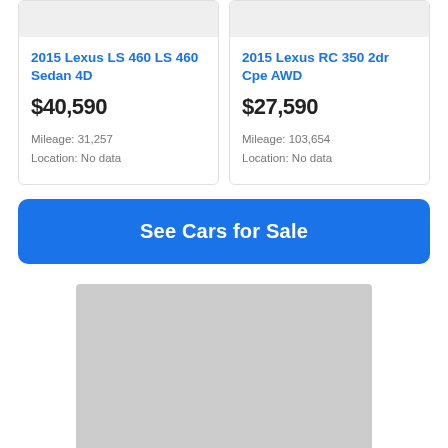[Figure (screenshot): Partial car listing card - top image area for 2015 Lexus LS 460 LS 460 Sedan 4D (cropped gray image placeholder)]
2015 Lexus LS 460 LS 460 Sedan 4D
$40,590
Mileage: 31,257
Location: No data
[Figure (screenshot): Partial car listing card - top image area for 2015 Lexus RC 350 2dr Cpe AWD (cropped gray image placeholder)]
2015 Lexus RC 350 2dr Cpe AWD
$27,590
Mileage: 103,654
Location: No data
See Cars for Sale
[Figure (photo): Gray placeholder image rectangle at bottom of page]